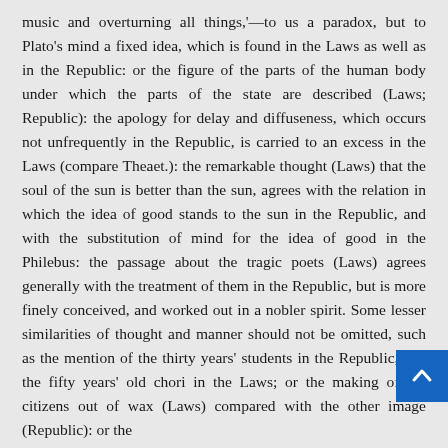music and overturning all things,'—to us a paradox, but to Plato's mind a fixed idea, which is found in the Laws as well as in the Republic: or the figure of the parts of the human body under which the parts of the state are described (Laws; Republic): the apology for delay and diffuseness, which occurs not unfrequently in the Republic, is carried to an excess in the Laws (compare Theaet.): the remarkable thought (Laws) that the soul of the sun is better than the sun, agrees with the relation in which the idea of good stands to the sun in the Republic, and with the substitution of mind for the idea of good in the Philebus: the passage about the tragic poets (Laws) agrees generally with the treatment of them in the Republic, but is more finely conceived, and worked out in a nobler spirit. Some lesser similarities of thought and manner should not be omitted, such as the mention of the thirty years' students in the Republic, and the fifty years' old chori in the Laws; or the making of the citizens out of wax (Laws) compared with the other image (Republic): or the